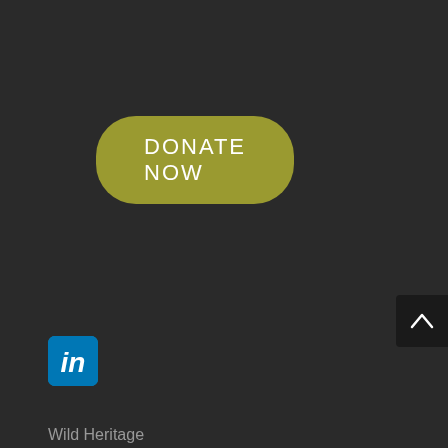DONATE NOW
Home
About
Saving Primary Forests
Protected Areas
Ecological Restoration
Latest News
Sign up for e-newsletter
[Figure (logo): LinkedIn logo icon — blue square with rounded corners and white 'in' text]
Wild Heritage